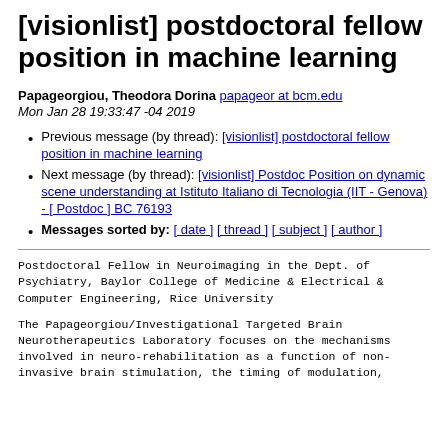[visionlist] postdoctoral fellow position in machine learning
Papageorgiou, Theodora Dorina papageor at bcm.edu
Mon Jan 28 19:33:47 -04 2019
Previous message (by thread): [visionlist] postdoctoral fellow position in machine learning
Next message (by thread): [visionlist] Postdoc Position on dynamic scene understanding at Istituto Italiano di Tecnologia (IIT - Genova) - [ Postdoc ] BC 76193
Messages sorted by: [ date ] [ thread ] [ subject ] [ author ]
Postdoctoral Fellow in Neuroimaging in the Dept. of
Psychiatry, Baylor College of Medicine & Electrical &
Computer Engineering, Rice University
The Papageorgiou/Investigational Targeted Brain
Neurotherapeutics Laboratory focuses on the mechanisms
involved in neuro-rehabilitation as a function of non-
invasive brain stimulation, the timing of modulation,